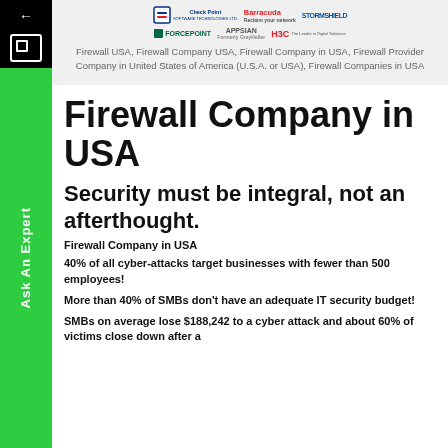[Figure (logo): Row of company logos: Check Point Software Technologies, Barracuda (Reclaim your network), Stormshield, Forcepoint, Appsian (Formerly GreyHeller), H3C (The Leader in Digital Solutions)]
Firewall USA, Firewall Company USA, Firewall Company in USA, Firewall Provider Company in United States of America (U.S.A. or USA), Firewall Companies in USA
Firewall Company in USA
Security must be integral, not an afterthought.
Firewall Company in USA
40% of all cyber-attacks target businesses with fewer than 500 employees!
More than 40% of SMBs don't have an adequate IT security budget!
SMBs on average lose $188,242 to a cyber attack and about 60% of victims close down after a